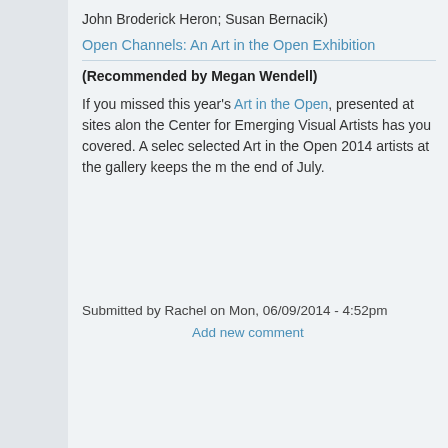John Broderick Heron; Susan Bernacik)
Open Channels: An Art in the Open Exhibition
(Recommended by Megan Wendell)
If you missed this year's Art in the Open, presented at sites alon the Center for Emerging Visual Artists has you covered. A selec selected Art in the Open 2014 artists at the gallery keeps the m the end of July.
Submitted by Rachel on Mon, 06/09/2014 - 4:52pm
Add new comment